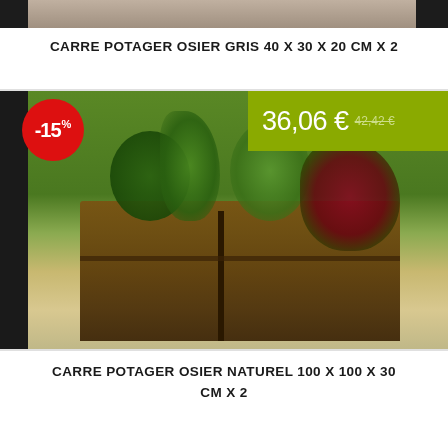[Figure (photo): Top cropped image strip showing part of a wicker planter product against a dark background]
CARRE POTAGER OSIER GRIS 40 X 30 X 20 CM X 2
[Figure (photo): Photo of two wicker osier natural planters (100x100x30cm x2) filled with various vegetables and herbs on a patio. Shows a red -15% discount badge and an olive green price box showing 36,06 € with strikethrough 42,42 €]
CARRE POTAGER OSIER NATUREL 100 X 100 X 30 CM X 2